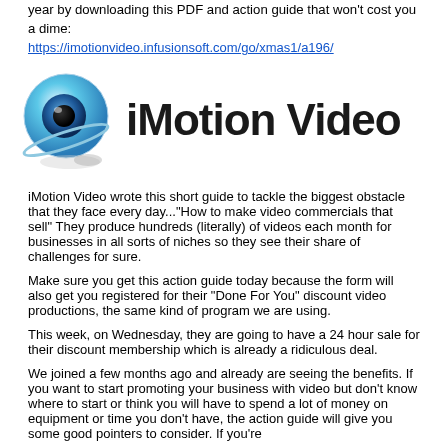year by downloading this PDF and action guide that won't cost you a dime:
https://imotionvideo.infusionsoft.com/go/xmas1/a196/
[Figure (logo): iMotion Video logo with a blue globe/eye icon and the text 'iMotion Video' in bold black lettering, with a reflection below]
iMotion Video wrote this short guide to tackle the biggest obstacle that they face every day..."How to make video commercials that sell" They produce hundreds (literally) of videos each month for businesses in all sorts of niches so they see their share of challenges for sure.
Make sure you get this action guide today because the form will also get you registered for their "Done For You" discount video productions, the same kind of program we are using.
This week, on Wednesday, they are going to have a 24 hour sale for their discount membership which is already a ridiculous deal.
We joined a few months ago and already are seeing the benefits. If you want to start promoting your business with video but don't know where to start or think you will have to spend a lot of money on equipment or time you don't have, the action guide will give you some good pointers to consider. If you're